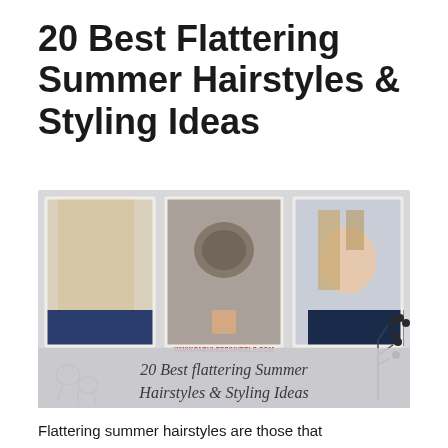20 Best Flattering Summer Hairstyles & Styling Ideas
[Figure (illustration): A collage image showing three hairstyle photos (long wavy blonde hair from behind, a braided bun updo from behind, a model with slicked-back blonde hair facing forward) against a light grey banner background with cursive text reading '20 Best Flattering Summer Hairstyles & Styling Ideas' and the URL www.fabulessinheels.com, with decorative floral line drawings on the sides.]
Flattering summer hairstyles are those that